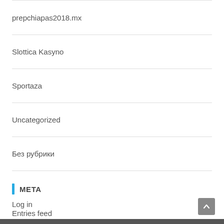prepchiapas2018.mx
Slottica Kasyno
Sportaza
Uncategorized
Без рубрики
META
Log in
Entries feed
Comments feed
WordPress.org